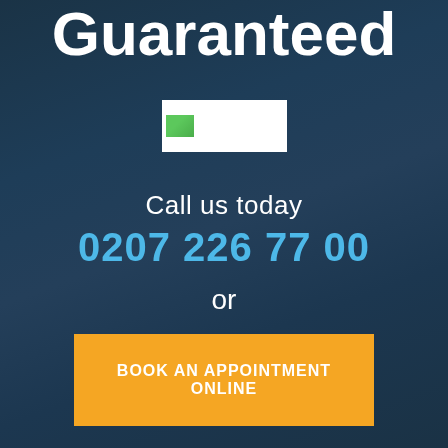Guaranteed
[Figure (logo): Small logo image with green graphic element inside a white bordered rectangle]
Call us today
0207 226 77 00
or
BOOK AN APPOINTMENT ONLINE